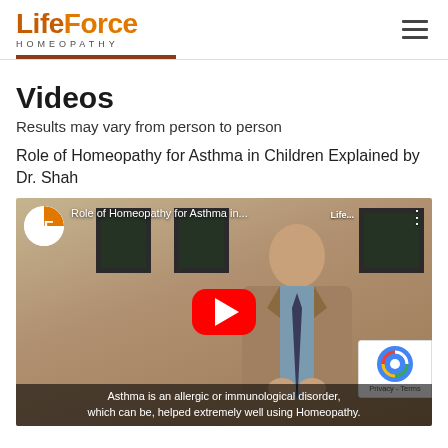LifeForce HOMEOPATHY
Videos
Results may vary from person to person
Role of Homeopathy for Asthma in Children Explained by Dr. Shah
[Figure (screenshot): YouTube video thumbnail showing a doctor in a suit with text 'Role of Homeopathy for Asthma in...' and a red YouTube play button. Subtitle at bottom reads: 'Asthma is an allergic or immunological disorder, which can be, helped extremely well using Homeopathy.']